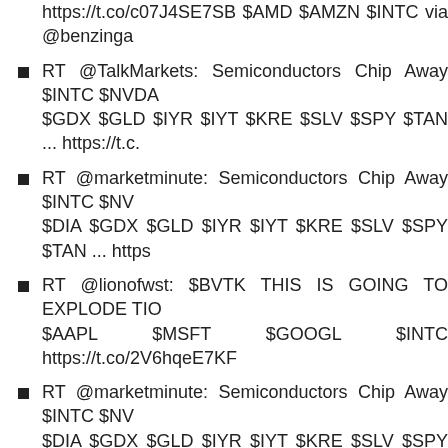https://t.co/c07J4SE7SB $AMD $AMZN $INTC via @benzinga
RT @TalkMarkets: Semiconductors Chip Away $INTC $NVDA $GDX $GLD $IYR $IYT $KRE $SLV $SPY $TAN ... https://t.c.
RT @marketminute: Semiconductors Chip Away $INTC $NV $DIA $GDX $GLD $IYR $IYT $KRE $SLV $SPY $TAN ... https
RT @lionofwst: $BVTK THIS IS GOING TO EXPLODE TIO $AAPL $MSFT $GOOGL $INTC https://t.co/2V6hqeE7KF
RT @marketminute: Semiconductors Chip Away $INTC $NV $DIA $GDX $GLD $IYR $IYT $KRE $SLV $SPY $TAN ... https
RT @marketminute: Semiconductors Chip Away $INTC $NV $DIA $GDX $GLD $IYR $IYT $KRE $SLV $SPY $TAN ... https
Cranbrook Wealth Management LLC Has $149,000 S https://t.co/C84LHwfRxW
Intel Corporation $INTC Shares Bought by Main Street Resea
The Fund Industry: How Your Money is Managed by Rob $AAPL $AMZN $TSLA $SPY $IBM $INTC